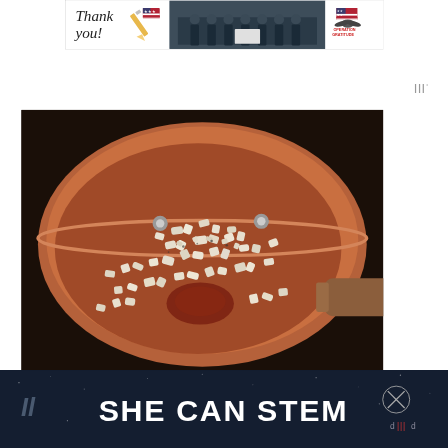[Figure (photo): Advertisement banner: 'Thank you!' text with pencil and American flag motif on left, group photo of firefighters/military personnel in center, 'Operation Gratitude' logo with eagle and flag on right]
[Figure (other): Weather widget icon - three vertical bars with degree symbol]
[Figure (photo): Cooking photo: diced onions and garlic being sautéed in a copper/terracotta colored frying pan, with a wooden spatula visible on the right side]
[Figure (other): Bottom advertisement bar with dark navy background showing text 'SHE CAN STEM' in bold white letters, with partial text on left side and a close button with crosshair icon on the right]